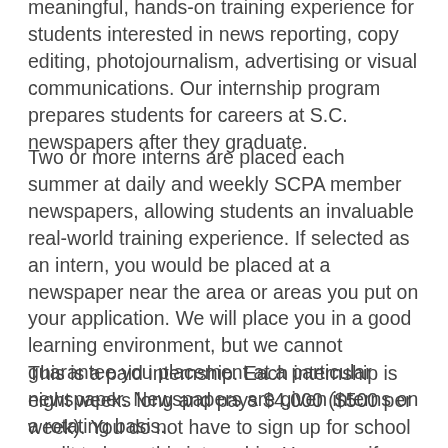meaningful, hands-on training experience for students interested in news reporting, copy editing, photojournalism, advertising or visual communications. Our internship program prepares students for careers at S.C. newspapers after they graduate.
Two or more interns are placed each summer at daily and weekly SCPA member newspapers, allowing students an invaluable real-world training experience. If selected as an intern, you would be placed at a newspaper near the area or areas you put on your application. We will place you in a good learning environment, but we cannot guarantee you placement at a particular newspaper. Newspapers are given interns on a rotating basis.
This is a paid internship. Each internship is eight weeks long and pays $4,000 ($500 per week). You do not have to sign up for school credit to have this internship. However, if you want, the internship would